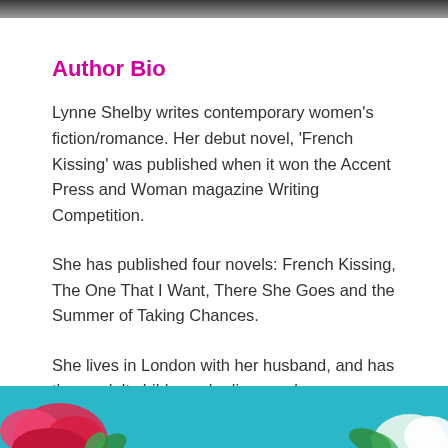[Figure (photo): Top image strip — partial photo visible at top of page]
Author Bio
Lynne Shelby writes contemporary women's fiction/romance. Her debut novel, 'French Kissing' was published when it won the Accent Press and Woman magazine Writing Competition.
She has published four novels: French Kissing, The One That I Want, There She Goes and the Summer of Taking Chances.
She lives in London with her husband, and has three adult children who live nearby.
[Figure (photo): Colorful floral image with teal/blue background and pink flowers visible at bottom of page]